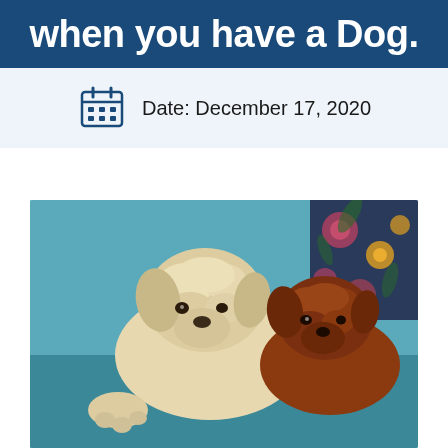when you have a Dog.
Date: December 17, 2020
[Figure (photo): Two fluffy dogs — one cream/white and one brown/auburn — lying together on a teal blue armchair with a floral patterned pillow behind them]